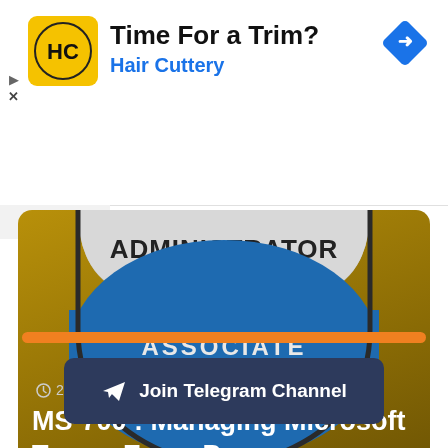[Figure (screenshot): Advertisement banner for Hair Cuttery with logo and navigation icon]
Time For a Trim?
Hair Cuttery
[Figure (illustration): Microsoft Administrator Associate badge with gold and blue shield, two stars, text ADMINISTRATOR and ASSOCIATE]
2 days ago
MS-700 : Managing Microsoft Teams Exam Prep
[Figure (infographic): Orange progress bar]
Join Telegram Channel